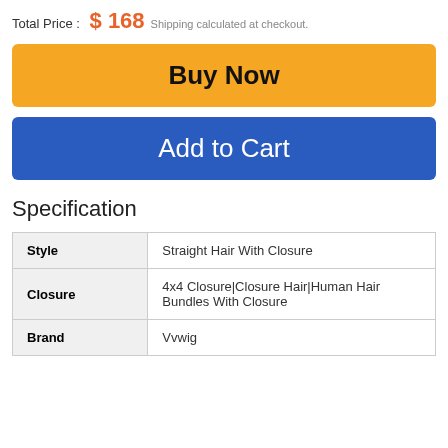Total Price : $ 168 Shipping calculated at checkout.
Buy Now
Add to Cart
Specification
|  |  |
| --- | --- |
| Style | Straight Hair With Closure |
| Closure | 4x4 Closure|Closure Hair|Human Hair Bundles With Closure |
| Brand | Vvwig |